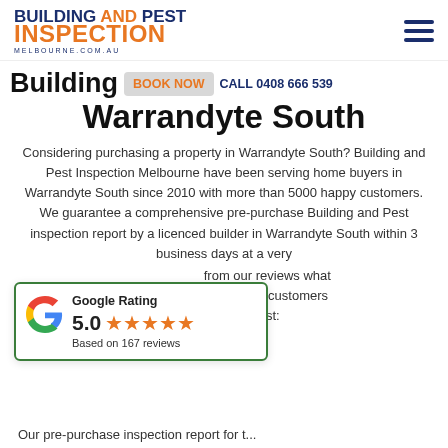[Figure (logo): Building and Pest Inspection Melbourne logo with orange and dark blue text]
Building and Pest Inspection Warrandyte South
Considering purchasing a property in Warrandyte South? Building and Pest Inspection Melbourne have been serving home buyers in Warrandyte South since 2010 with more than 5000 happy customers. We guarantee a comprehensive pre-purchase Building and Pest inspection report by a licenced builder in Warrandyte South within 3 business days at a very from our reviews what Melbourne customers st:
[Figure (infographic): Google Rating popup showing 5.0 stars based on 167 reviews]
Our pre-purchase inspection report for t...